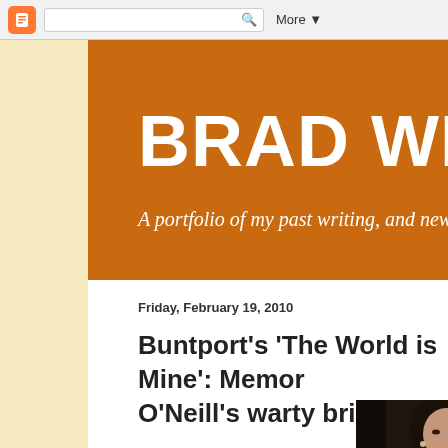Blogger toolbar with search box and More button
BRAD WEISM
A portfolio of my past writing, and new stories as t
Friday, February 19, 2010
Buntport's 'The World is Mine': Memo O'Neill's warty brilliance
[Figure (photo): Dark-toned photo of a woman with dark hair, earrings, looking slightly to the side]